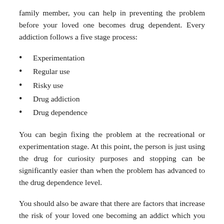family member, you can help in preventing the problem before your loved one becomes drug dependent. Every addiction follows a five stage process:
Experimentation
Regular use
Risky use
Drug addiction
Drug dependence
You can begin fixing the problem at the recreational or experimentation stage. At this point, the person is just using the drug for curiosity purposes and stopping can be significantly easier than when the problem has advanced to the drug dependence level.
You should also be aware that there are factors that increase the risk of your loved one becoming an addict which you need to deal with even after you handle the